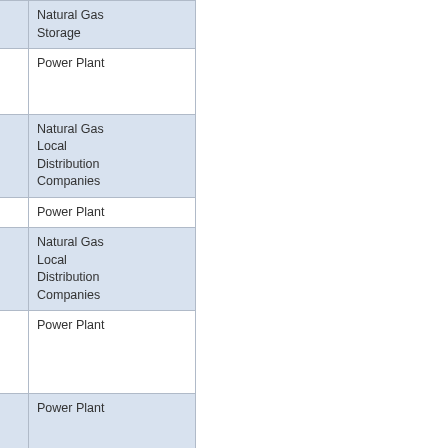| Name | City | State | Type |
| --- | --- | --- | --- |
| GAS LIGHT & COKE CO | FISHER | IL | Natural Gas Storage |
| WINNEBAGO ENERGY CENTER LLC | ROCKFORD | IL | Power Plant |
| The Peoples Gas Light and Coke Company | CHICAGO | IL | Natural Gas Local Distribution Companies |
| Presque Isle | MARQUETTE | MI | Power Plant |
| Wisconsin Public Service Corporation - WI | Green Bay | WI | Natural Gas Local Distribution Companies |
| Rothschild Biomass Cogeneration Plant | Rothschild | WI | Power Plant |
| Port Washington Generating Station | PORT WASHINGTON | WI | Power Plant |
| Pulliam | Green Bay | WI | Power Plant |
| Depere Energy Center | DE PERE | WI | Power Plant |
| Weston | ROTHSCHILD | WI | Power Plant |
| Fox Energy Center | Kaukauna | WI | Power Plant |